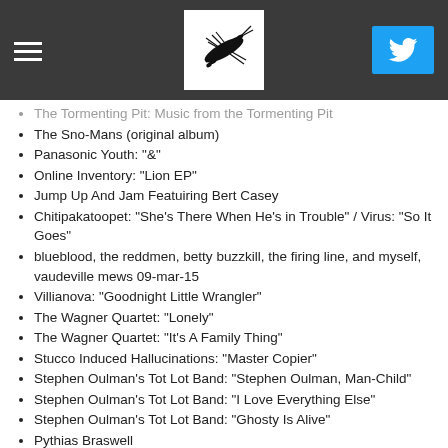Navigation header with logo and Twitter button
The Tormenting Pit: Music from the Tormenting Pit
The Sno-Mans (original album)
Panasonic Youth: "&"
Online Inventory: "Lion EP"
Jump Up And Jam Featuiring Bert Casey
Chitipakatoopet: "She's There When He's in Trouble" / Virus: "So It Goes"
blueblood, the reddmen, betty buzzkill, the firing line, and myself, vaudeville mews 09-mar-15
Villianova: "Goodnight Little Wrangler"
The Wagner Quartet: "Lonely"
The Wagner Quartet: "It's A Family Thing"
Stucco Induced Hallucinations: "Master Copier"
Stephen Oulman's Tot Lot Band: "Stephen Oulman, Man-Child"
Stephen Oulman's Tot Lot Band: "I Love Everything Else"
Stephen Oulman's Tot Lot Band: "Ghosty Is Alive"
Pythias Braswell
Panasonic Youth: "?"
Panasonic Youth: "I1" and "I2"